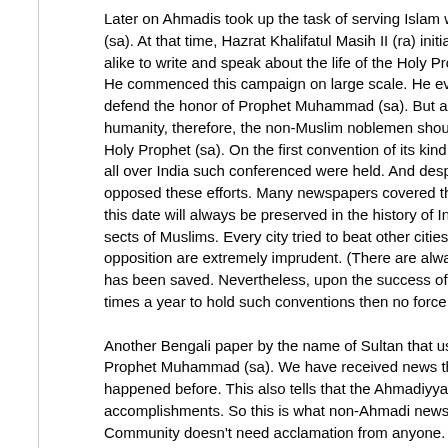Later on Ahmadis took up the task of serving Islam when during t (sa). At that time, Hazrat Khalifatul Masih II (ra) initiated the camp alike to write and speak about the life of the Holy Prophet (sa). H He commenced this campaign on large scale. He even invited no defend the honor of Prophet Muhammad (sa). But as Hazrat Kha humanity, therefore, the non-Muslim noblemen should also elucid Holy Prophet (sa). On the first convention of its kind that held in Q all over India such conferenced were held. And despite theologica opposed these efforts. Many newspapers covered those conventi this date will always be preserved in the history of India. On this d sects of Muslims. Every city tried to beat other cities in these effo opposition are extremely imprudent. (There are always such peop has been saved. Nevertheless, upon the success of the June 17t times a year to hold such conventions then no force that can com
Another Bengali paper by the name of Sultan that used to publish Prophet Muhammad (sa). We have received news that almost all happened before. This also tells that the Ahmadiyya community is accomplishments. So this is what non-Ahmadi newspapers wrote Community doesn't need acclamation from anyone. Hazrat Khalif understand his status. Moreover, he did it to established the fact t